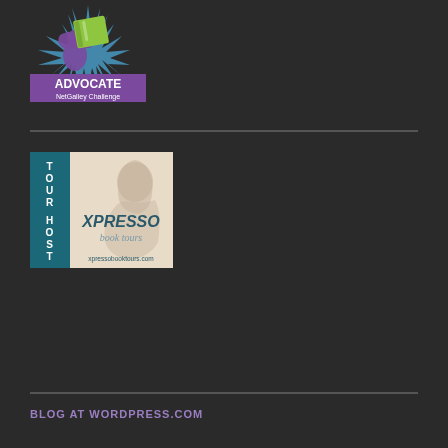[Figure (logo): NetGalley Advocate Challenge badge - shows a person holding a green book with blue starburst background, text ADVOCATE and NetGalley Challenge in purple bar at bottom]
[Figure (logo): Xpresso Book Tours Tour Host badge - teal left panel with TOUR HOST text vertically, cream/beige right panel with silhouette of woman reading and XPRESSO book tours text and xpressobooktours.com URL]
BLOG AT WORDPRESS.COM